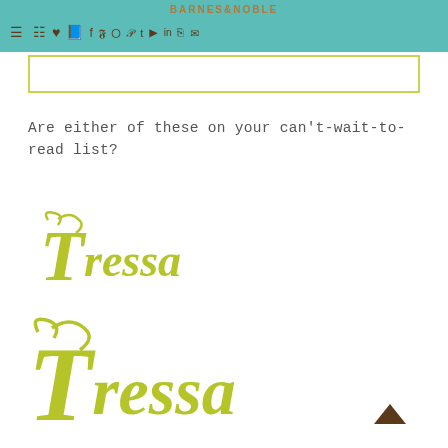BARNES & NOBLE — navigation bar with icons
[Figure (screenshot): Search input box with yellow-green border]
Are either of these on your can't-wait-to-read list?
[Figure (logo): Small Tressa cursive script logo in olive-yellow color]
[Figure (logo): Large Tressa cursive script logo in olive-yellow color]